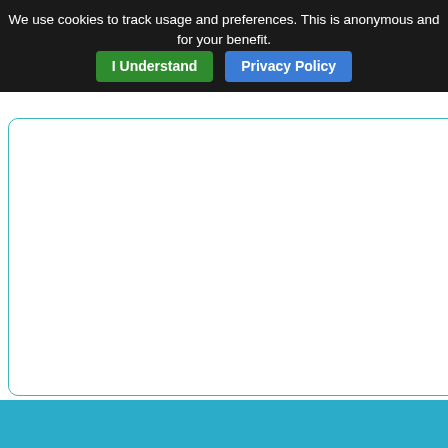We use cookies to track usage and preferences. This is anonymous and for your benefit. I Understand  Privacy Policy
[Figure (photo): Aircraft photo showing a Bombardier Global Express jet on the ground, front view slightly from the side, against a light sky background]
P3D /FSX Bo
Zip file preview... 81.80Mb (223
P3D 3/4 /FS Global Expre Bombardier A TVPX ARS In enhanced ne wipers and n Quincio. Inclu MFD and cu Updates by C
Posted Mar 7